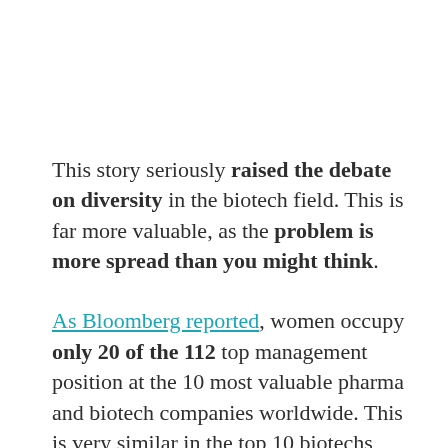This story seriously raised the debate on diversity in the biotech field. This is far more valuable, as the problem is more spread than you might think.
As Bloomberg reported, women occupy only 20 of the 112 top management position at the 10 most valuable pharma and biotech companies worldwide. This is very similar in the top 10 biotechs startups that raised the most money in 2014: only 19 percent of senior